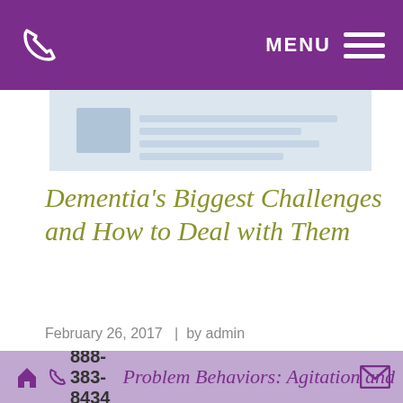MENU (navigation bar with phone icon)
[Figure (photo): Partial view of an article header image, showing a blurred document or calendar-like background in light blue-gray tones]
Dementia's Biggest Challenges and How to Deal with Them
February 26, 2017  |  by admin
All    Dementia
The challenges of dementia are many. Educating yourself and not taking things personally are two of the best things you can do. That said, there are a few effective strategies for specific issues.
This site uses cookies. See our Privacy Policy to learn more.
Okay, Got it
Problem Behaviors: Agitation and  |  888-383-8434